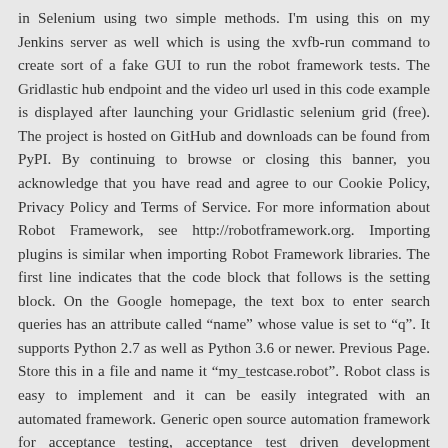in Selenium using two simple methods. I'm using this on my Jenkins server as well which is using the xvfb-run command to create sort of a fake GUI to run the robot framework tests. The Gridlastic hub endpoint and the video url used in this code example is displayed after launching your Gridlastic selenium grid (free). The project is hosted on GitHub and downloads can be found from PyPI. By continuing to browse or closing this banner, you acknowledge that you have read and agree to our Cookie Policy, Privacy Policy and Terms of Service. For more information about Robot Framework, see http://robotframework.org. Importing plugins is similar when importing Robot Framework libraries. The first line indicates that the code block that follows is the setting block. On the Google homepage, the text box to enter search queries has an attribute called ânameâ whose value is set to âqâ. It supports Python 2.7 as well as Python 3.6 or newer. Previous Page. Store this in a file and name it âmy_testcase.robotâ. Robot class is easy to implement and it can be easily integrated with an automated framework. Generic open source automation framework for acceptance testing, acceptance test driven development (ATDD), and robotic process automation (RPA). Robot wanted to make the framework easy to understand, so the keywords are human-readable descriptions. Automation developers and testers alike use this framework for